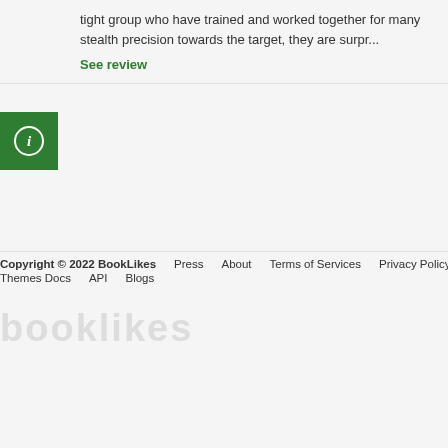tight group who have trained and worked together for many stealth precision towards the target, they are surpr...
See review
[Figure (other): Green info icon button with white circle and letter i]
Copyright © 2022 BookLikes   Press   About   Terms of Services   Privacy Policy   Themes Docs   API   Blogs
booklikes